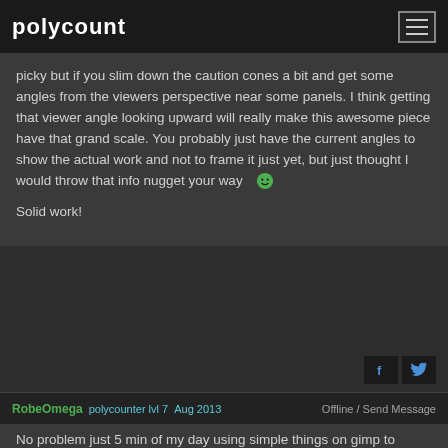polycount
picky but if you slim down the caution cones a bit and get some angles from the viewers perspective near some panels. I think getting that viewer angle looking upward will really make this awesome piece have that grand scale. You probably just have the current angles to show the actual work and not to frame it just yet, but just thought I would throw that info nugget your way 🙂

Solid work!
RobeOmega  polycounter lvl 7  Aug 2013   Offline / Send Message
No problem just 5 min of my day using simple things on gimp to change it I like how in the saturation change the oranges pop out